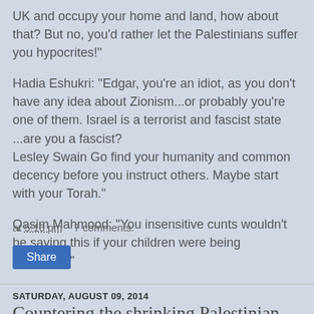UK and occupy your home and land, how about that? But no, you'd rather let the Palestinians suffer you hypocrites!"
Hadia Eshukri: "Edgar, you're an idiot, as you don't have any idea about Zionism...or probably you're one of them. Israel is a terrorist and fascist state ...are you a fascist?
Lesley Swain Go find your humanity and common decency before you instruct others. Maybe start with your Torah."
Qasim Mahmood: "You insensitive cunts wouldn't be saying this if your children were being murdered!"
at 5:16 pm    7 comments:
Share
SATURDAY, AUGUST 09, 2014
Countering the shrinking Palestinian...